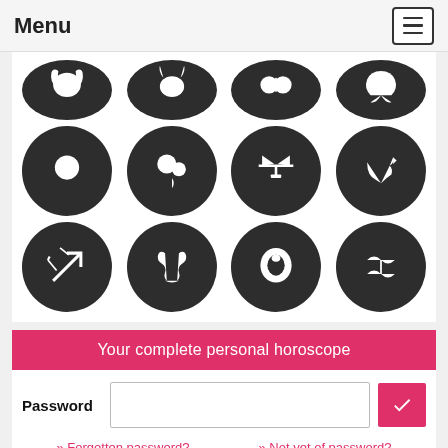Menu
[Figure (illustration): Grid of 12 zodiac sign icons as white symbols on dark circular backgrounds, arranged in 3 rows of 4: Row 1 (partially visible): Aries/ram, Taurus/bull, Gemini/twins, Cancer/crab. Row 2: Leo/lion, Virgo/maiden, Libra/scales, Scorpio/scorpion. Row 3: Sagittarius/archer, Capricorn/goat, Aquarius/water bearer, Pisces/fish.]
Your complete personal horoscope
Password
» Forgotten password?   » Not yet of password?